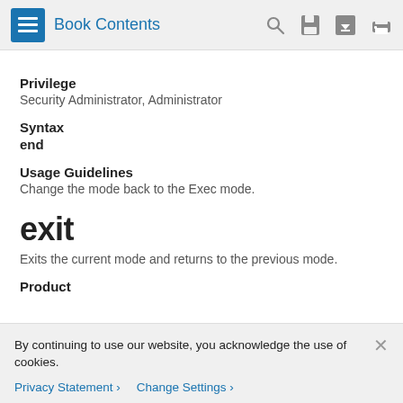Book Contents
Privilege
Security Administrator, Administrator
Syntax
end
Usage Guidelines
Change the mode back to the Exec mode.
exit
Exits the current mode and returns to the previous mode.
Product
By continuing to use our website, you acknowledge the use of cookies.
Privacy Statement › Change Settings ›